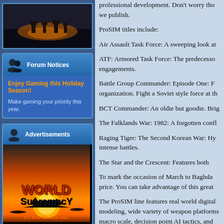[Figure (illustration): Top left silhouette scene with figures against dark background with orange glow]
[Figure (screenshot): Forum Notices box with header showing two silhouette figures and 'Forum Notices' text]
Enjoy Gaming this Holiday Season!
Make gaming your priority this year.
[Figure (screenshot): Advertisements section header]
[Figure (illustration): World Supremacy game advertisement with jet silhouette against sunset. Text: WORLD SupremacY. It's time for total war.]
professional development. Don't worry tho we publish.

ProSIM titles include:

Air Assault Task Force: A sweeping look at

ATF: Armored Task Force: The predecesso engagements.

Battle Group Commander: Episode One: F organization. Fight a Soviet style force at th

BCT Commander: An oldie but goodie. Brig

The Falklands War: 1982: A forgotten confl

Raging Tiger: The Second Korean War: Hy intense battles.

The Star and the Crescent: Features both

To mark the occasion of March to Baghda price. You can take advantage of this great

The ProSIM line features real world digital modeling, wide variety of weapon platforms macro scale, decision point AI tactics, and

In a world of yet another gamey WW2 title